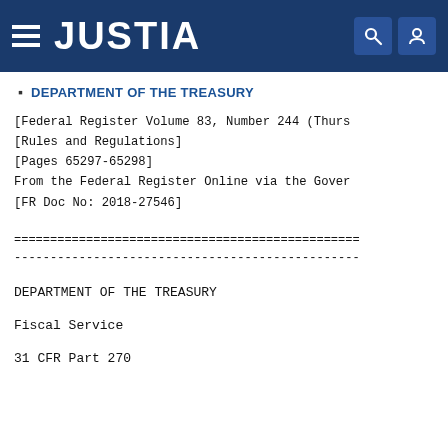JUSTIA
DEPARTMENT OF THE TREASURY
[Federal Register Volume 83, Number 244 (Thurs
[Rules and Regulations]
[Pages 65297-65298]
From the Federal Register Online via the Gover
[FR Doc No: 2018-27546]
========================================
----------------------------------------
DEPARTMENT OF THE TREASURY
Fiscal Service
31 CFR Part 270